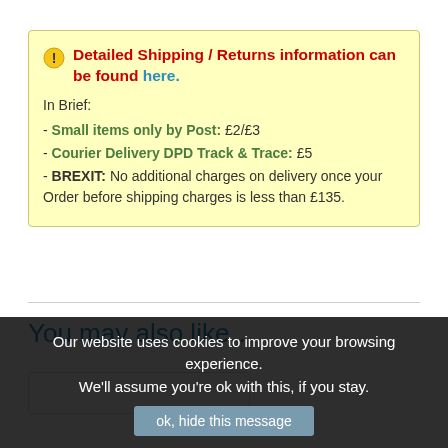Detailed Shipping / Returns information can be found here. In Brief: - Small items only by Post: £2/£3 - Courier Delivery DPD Track & Trace: £5 - BREXIT: No additional charges on delivery once your Order before shipping charges is less than £135.
You may also like…
Our website uses cookies to improve your browsing experience. We'll assume you're ok with this, if you stay.